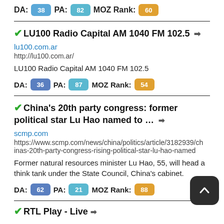DA: 38 PA: 82 MOZ Rank: 60
LU100 Radio Capital AM 1040 FM 102.5
lu100.com.ar
http://lu100.com.ar/
LU100 Radio Capital AM 1040 FM 102.5
DA: 36 PA: 87 MOZ Rank: 54
China's 20th party congress: former political star Lu Hao named to ...
scmp.com
https://www.scmp.com/news/china/politics/article/3182939/chinas-20th-party-congress-rising-political-star-lu-hao-named
Former natural resources minister Lu Hao, 55, will head a think tank under the State Council, China's cabinet.
DA: 62 PA: 21 MOZ Rank: 88
RTL Play - Live